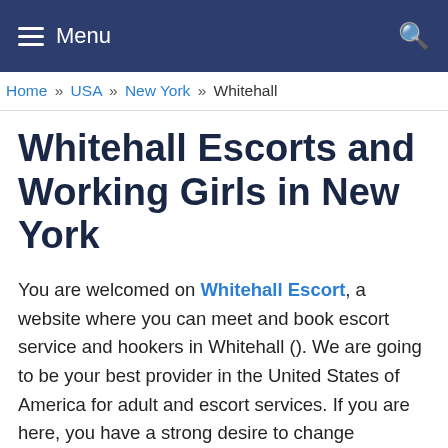Menu
Home » USA » New York » Whitehall
Whitehall Escorts and Working Girls in New York
You are welcomed on Whitehall Escort, a website where you can meet and book escort service and hookers in Whitehall (). We are going to be your best provider in the United States of America for adult and escort services. If you are here, you have a strong desire to change something, to have a rest, or need a woman to talk to, so you can have lots of reasons to do this, but we aim to offer you the best sweethearts who will help you anyway.